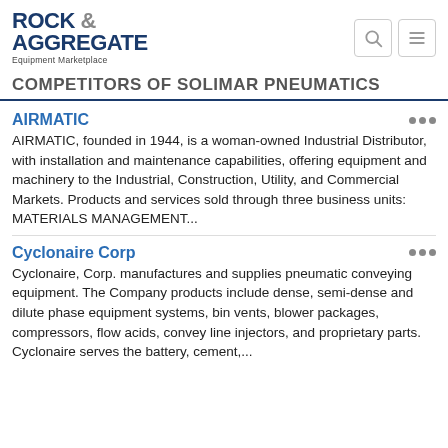ROCK & AGGREGATE Equipment Marketplace
COMPETITORS OF SOLIMAR PNEUMATICS
AIRMATIC
AIRMATIC, founded in 1944, is a woman-owned Industrial Distributor, with installation and maintenance capabilities, offering equipment and machinery to the Industrial, Construction, Utility, and Commercial Markets. Products and services sold through three business units: MATERIALS MANAGEMENT...
Cyclonaire Corp
Cyclonaire, Corp. manufactures and supplies pneumatic conveying equipment. The Company products include dense, semi-dense and dilute phase equipment systems, bin vents, blower packages, compressors, flow acids, convey line injectors, and proprietary parts. Cyclonaire serves the battery, cement,...